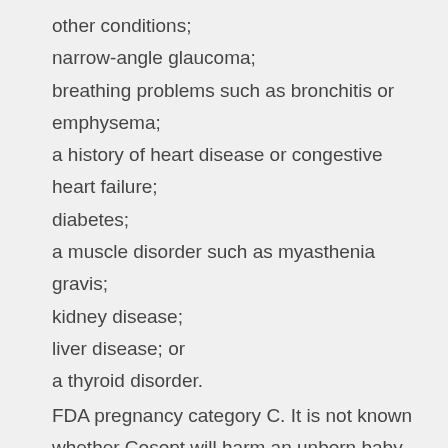other conditions;
narrow-angle glaucoma;
breathing problems such as bronchitis or emphysema;
a history of heart disease or congestive heart failure;
diabetes;
a muscle disorder such as myasthenia gravis;
kidney disease;
liver disease; or
a thyroid disorder.
FDA pregnancy category C. It is not known whether Cosopt will harm an unborn baby. Tell your doctor if you are pregnant or plan to become pregnant while using Dorzolamide and Timolol drops . It is not known whether Cosopt passes into breast milk or if it could harm a nursing baby. You should not breast-feed while you are